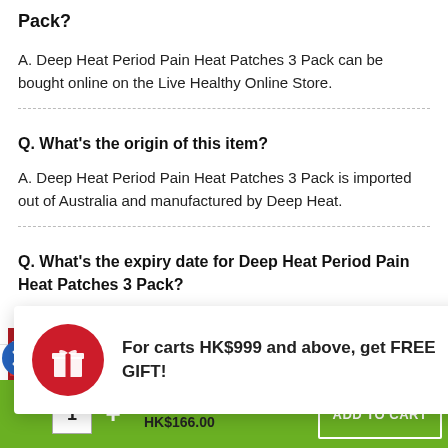Pack?
A. Deep Heat Period Pain Heat Patches 3 Pack can be bought online on the Live Healthy Online Store.
Q. What's the origin of this item?
A. Deep Heat Period Pain Heat Patches 3 Pack is imported out of Australia and manufactured by Deep Heat.
Q. What's the expiry date for Deep Heat Period Pain Heat Patches 3 Pack?
For carts HK$999 and above, get FREE GIFT!
Deep Heat Period Pain Heat Patches 3 Pack
1  +  HK$216.00  HK$166.00  ADD TO CART